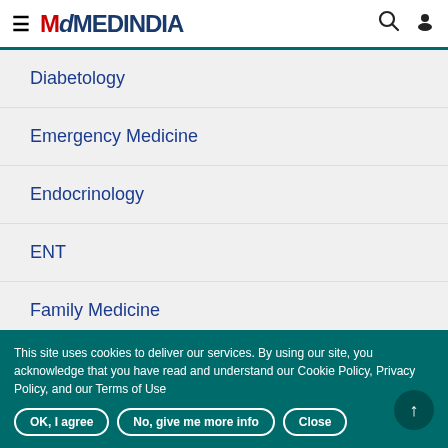MEDINDIA
Diabetology
Emergency Medicine
Endocrinology
ENT
Family Medicine
Forensic Medicine And Jurisprudence
This site uses cookies to deliver our services. By using our site, you acknowledge that you have read and understand our Cookie Policy, Privacy Policy, and our Terms of Use